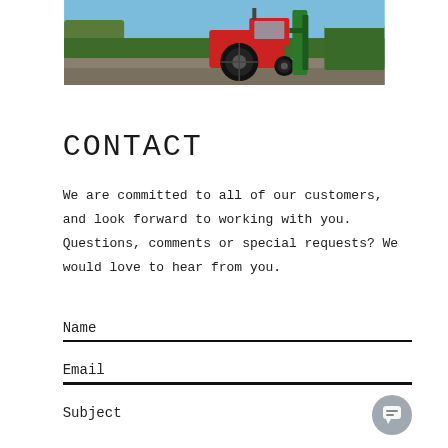[Figure (photo): A red tractor with a green attachment driving along a rural road with hedgerows and trees in the background under a blue sky]
CONTACT
We are committed to all of our customers, and look forward to working with you. Questions, comments or special requests? We would love to hear from you.
Name
Email
Subject